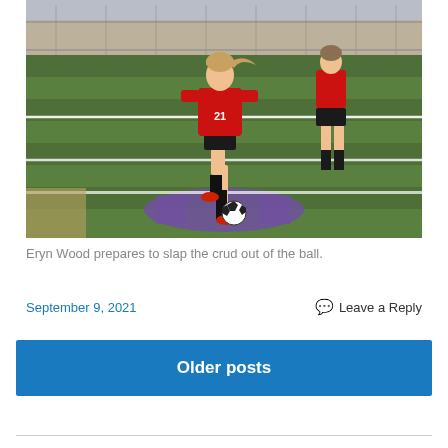[Figure (photo): A girl wearing a red and black soccer jersey numbered 21 prepares to kick a soccer ball on a field with purple markings. Another player in a red jersey is visible in the background.]
Eryn Wood prepares to slap the crud out of the ball.
September 9, 2021
Leave a Reply
Older posts